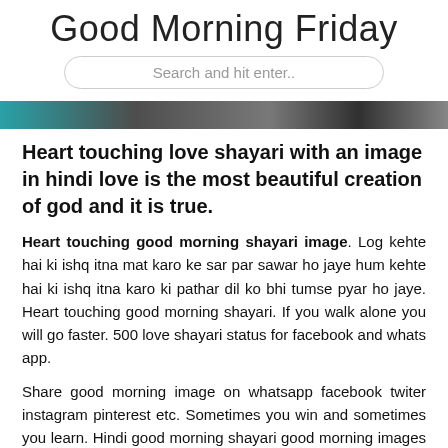Good Morning Friday
Search and hit enter..
[Figure (photo): Colorful image strip showing thumbnails related to good morning shayari content]
Heart touching love shayari with an image in hindi love is the most beautiful creation of god and it is true.
Heart touching good morning shayari image. Log kehte hai ki ishq itna mat karo ke sar par sawar ho jaye hum kehte hai ki ishq itna karo ki pathar dil ko bhi tumse pyar ho jaye. Heart touching good morning shayari. If you walk alone you will go faster. 500 love shayari status for facebook and whats app.
Share good morning image on whatsapp facebook twiter instagram pinterest etc. Sometimes you win and sometimes you learn. Hindi good morning shayari good morning images सुबह क ी श ुभ क ामना क ी शाय री. Best 110 hindi good morning shayari good morning images.